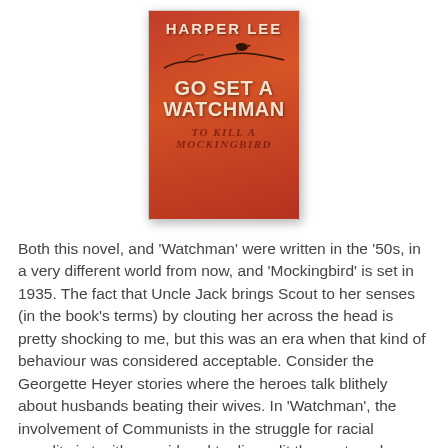[Figure (illustration): Book cover of 'Go Set a Watchman' by Harper Lee. Orange/red background with silhouette of a bird on a branch. The title text reads 'HARPER LEE / GO SET A / WATCHMAN' in large white bold letters. Faded text underneath reads 'TO KILL A MOCKINGBIRD'.]
Both this novel, and 'Watchman' were written in the '50s, in a very different world from now, and 'Mockingbird' is set in 1935. The fact that Uncle Jack brings Scout to her senses (in the book's terms) by clouting her across the head is pretty shocking to me, but this was an era when that kind of behaviour was considered acceptable. Consider the Georgette Heyer stories where the heroes talk blithely about husbands beating their wives. In 'Watchman', the involvement of Communists in the struggle for racial equality is tacitly considered to discredit those struggles, though in